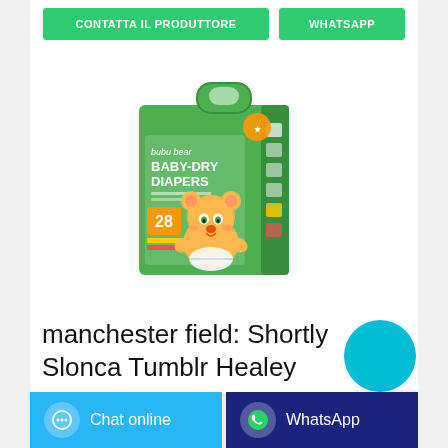CONTATTA IL PRODUTTORE
WHATSAPP
[Figure (photo): Bubu Bear Baby-Dry Diapers product package, green packaging with cartoon bear, count 28]
manchester field: Shortly Slonca Tumblr Healey
Chat online
WhatsApp